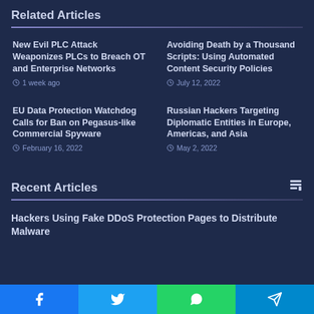Related Articles
New Evil PLC Attack Weaponizes PLCs to Breach OT and Enterprise Networks | 1 week ago
Avoiding Death by a Thousand Scripts: Using Automated Content Security Policies | July 12, 2022
EU Data Protection Watchdog Calls for Ban on Pegasus-like Commercial Spyware | February 16, 2022
Russian Hackers Targeting Diplomatic Entities in Europe, Americas, and Asia | May 2, 2022
Recent Articles
Hackers Using Fake DDoS Protection Pages to Distribute Malware